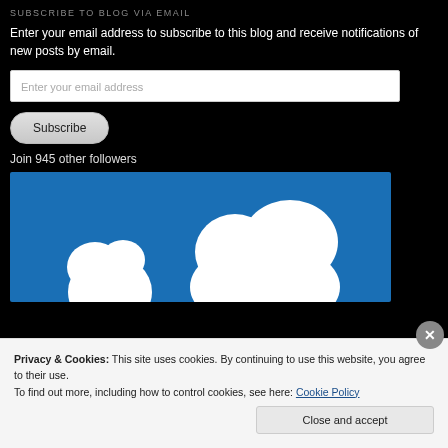SUBSCRIBE TO BLOG VIA EMAIL
Enter your email address to subscribe to this blog and receive notifications of new posts by email.
Enter your email address
Subscribe
Join 945 other followers
[Figure (screenshot): Blue background with white cloud/arrow shapes, appears to be a WordPress or blog video/media widget]
Privacy & Cookies: This site uses cookies. By continuing to use this website, you agree to their use.
To find out more, including how to control cookies, see here: Cookie Policy
Close and accept